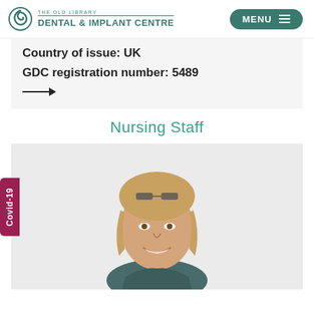The Old Library Dental & Implant Centre — MENU
Country of issue: UK
GDC registration number: 5489
Nursing Staff
[Figure (photo): Portrait photo of a young woman with glasses on her head, smiling, wearing a dark scrub top, against a light background.]